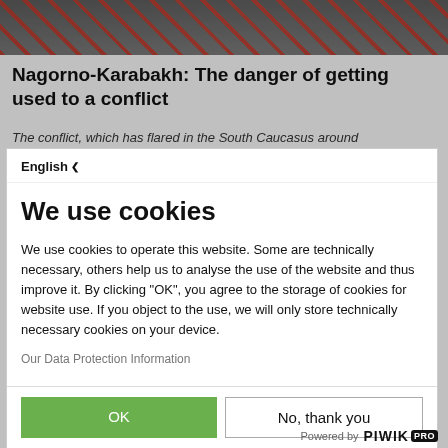[Figure (photo): Background photo of red berries/petals on gray surface, partially visible behind cookie modal]
Nagorno-Karabakh: The danger of getting used to a conflict
The conflict, which has flared in the South Caucasus around
English ▾
We use cookies
We use cookies to operate this website. Some are technically necessary, others help us to analyse the use of the website and thus improve it. By clicking "OK", you agree to the storage of cookies for website use. If you object to the use, we will only store technically necessary cookies on your device.
Our Data Protection Information
OK
No, thank you
Powered by PIWIK PRO